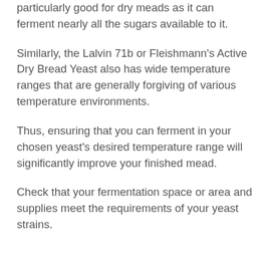particularly good for dry meads as it can ferment nearly all the sugars available to it.
Similarly, the Lalvin 71b or Fleishmann's Active Dry Bread Yeast also has wide temperature ranges that are generally forgiving of various temperature environments.
Thus, ensuring that you can ferment in your chosen yeast's desired temperature range will significantly improve your finished mead.
Check that your fermentation space or area and supplies meet the requirements of your yeast strains.